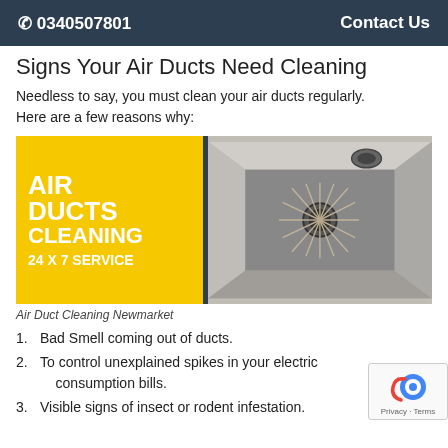✆ 0340507801   Contact Us
Signs Your Air Ducts Need Cleaning
Needless to say, you must clean your air ducts regularly. Here are a few reasons why:
[Figure (illustration): Air duct cleaning advertisement image showing yellow panel with text 'AIR DUCTS CLEANING 24 X 7 SERVICE' on left and photo of duct cleaning brush inside metal duct on right]
Air Duct Cleaning Newmarket
1. Bad Smell coming out of ducts.
2. To control unexplained spikes in your electric consumption bills.
3. Visible signs of insect or rodent infestation.